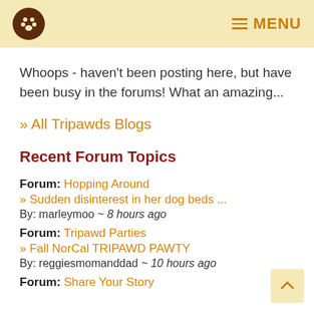MENU
Whoops - haven't been posting here, but have been busy in the forums! What an amazing...
» All Tripawds Blogs
Recent Forum Topics
Forum: Hopping Around
» Sudden disinterest in her dog beds ...
By: marleymoo ~ 8 hours ago
Forum: Tripawd Parties
» Fall NorCal TRIPAWD PAWTY
By: reggiesmomanddad ~ 10 hours ago
Forum: Share Your Story